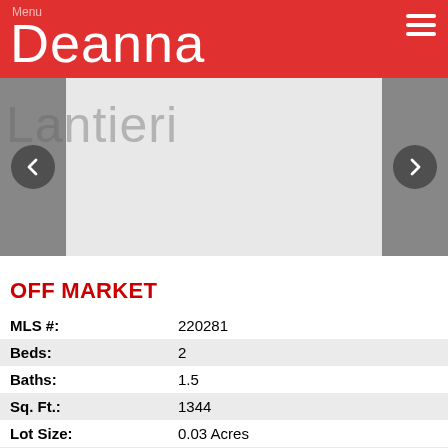Deanna Lantieri
[Figure (photo): Agent or property photo placeholder with navigation arrows]
OFF MARKET
| Field | Value |
| --- | --- |
| MLS #: | 220281 |
| Beds: | 2 |
| Baths: | 1.5 |
| Sq. Ft.: | 1344 |
| Lot Size: | 0.03 Acres |
| Yr. Built: | 1970 |
| Type: | Mobile Home |
| Area: | Bishop |
| Subdivision: | Bishop |
| Address: | 1467 MacGregor
Bishop, CA 93514 |